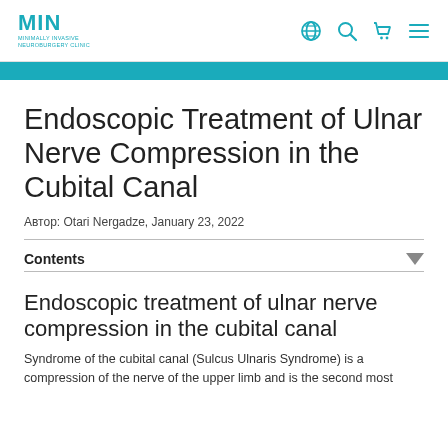MIN MINIMALLY INVASIVE NEUROBURGERY CLINIC
Endoscopic Treatment of Ulnar Nerve Compression in the Cubital Canal
Автор: Otari Nergadze, January 23, 2022
Contents
Endoscopic treatment of ulnar nerve compression in the cubital canal
Syndrome of the cubital canal (Sulcus Ulnaris Syndrome) is a compression of the nerve of the upper limb and is the second most